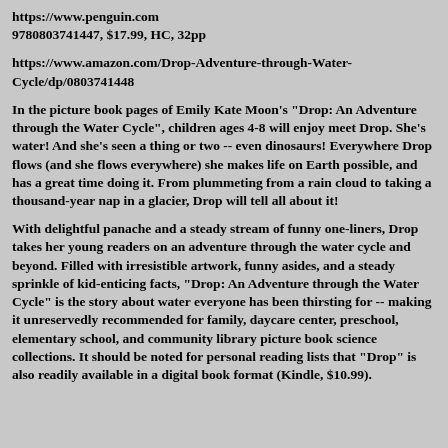https://www.penguin.com
9780803741447, $17.99, HC, 32pp
https://www.amazon.com/Drop-Adventure-through-Water-Cycle/dp/0803741448
In the picture book pages of Emily Kate Moon's "Drop: An Adventure through the Water Cycle", children ages 4-8 will enjoy meet Drop. She's water! And she's seen a thing or two -- even dinosaurs! Everywhere Drop flows (and she flows everywhere) she makes life on Earth possible, and has a great time doing it. From plummeting from a rain cloud to taking a thousand-year nap in a glacier, Drop will tell all about it!
With delightful panache and a steady stream of funny one-liners, Drop takes her young readers on an adventure through the water cycle and beyond. Filled with irresistible artwork, funny asides, and a steady sprinkle of kid-enticing facts, "Drop: An Adventure through the Water Cycle" is the story about water everyone has been thirsting for -- making it unreservedly recommended for family, daycare center, preschool, elementary school, and community library picture book science collections. It should be noted for personal reading lists that "Drop" is also readily available in a digital book format (Kindle, $10.99).